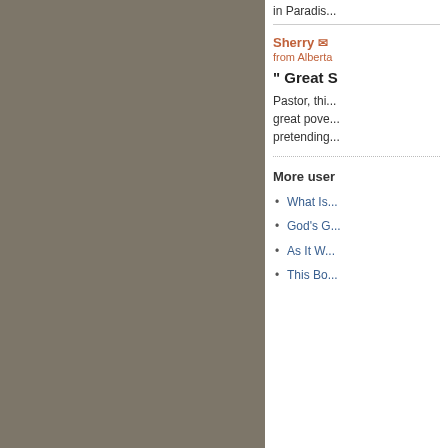in Paradis...
Sherry
from Alberta
" Great S...
Pastor, thi... great powe... pretending...
More user...
What Is...
God's G...
As It W...
This Bo...
SA UPDATES NEWSLETTER
Sign up for a weekly dose of personal thou...
SIGN UP
TOP